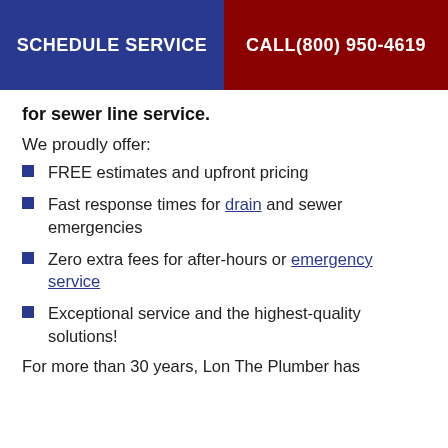SCHEDULE SERVICE | CALL(800) 950-4619
for sewer line service.
We proudly offer:
FREE estimates and upfront pricing
Fast response times for drain and sewer emergencies
Zero extra fees for after-hours or emergency service
Exceptional service and the highest-quality solutions!
For more than 30 years, Lon The Plumber has